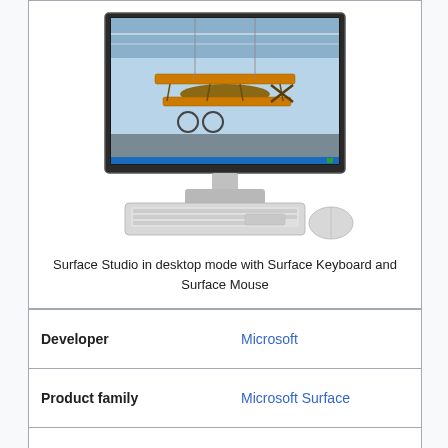[Figure (photo): Surface Studio desktop computer showing a biplane aircraft display on screen, with a Surface Keyboard and Surface Mouse below it]
Surface Studio in desktop mode with Surface Keyboard and Surface Mouse
| Property | Value |
| --- | --- |
| Developer | Microsoft |
| Product family | Microsoft Surface |
| Type | All-in-one PC |
| Generation | 1st |